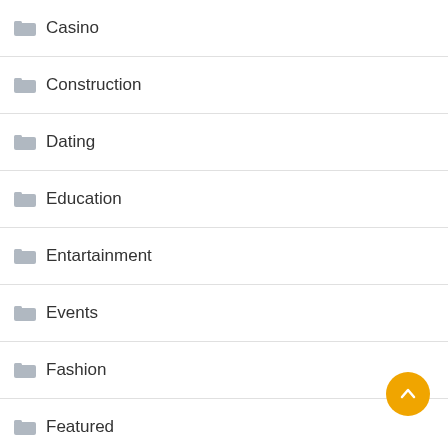Casino
Construction
Dating
Education
Entartainment
Events
Fashion
Featured
Finance
FITNESS
Food